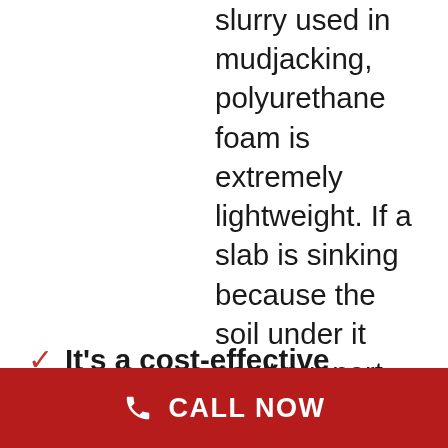slurry used in mudjacking, polyurethane foam is extremely lightweight. If a slab is sinking because the soil under it can't support the weight, adding even more weight to the soil via a cement slurry isn't going to solve the problem. In fact, it could make the slab sink even faster and then you'd need to repeat the repair using another method.
It's a cost-effective solution. Leveling and lifting a concrete sidewalk, driveway, pool deck, or other slab via polyurethane foam
CALL NOW